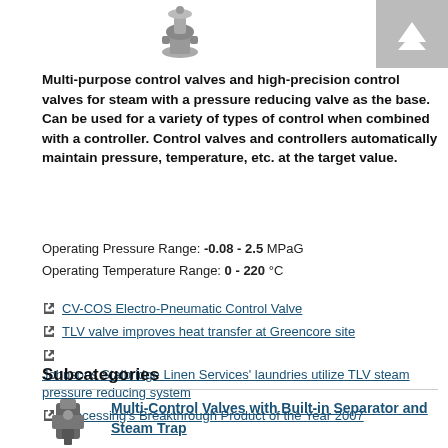[Figure (photo): Photo of a steam control valve product (pressure reducing valve type)]
[Figure (other): Back-to-top navigation button with upward arrow icon]
Multi-purpose control valves and high-precision control valves for steam with a pressure reducing valve as the base. Can be used for a variety of types of control when combined with a controller. Control valves and controllers automatically maintain pressure, temperature, etc. at the target value.
Operating Pressure Range: -0.08 - 2.5 MPaG
Operating Temperature Range: 0 - 220 °C
CV-COS Electro-Pneumatic Control Valve
TLV valve improves heat transfer at Greencore site
Johnsons Stalbridge Linen Services' laundries utilize TLV steam pressure reducing system
Processing's Breakthrough Product of the Year 2007
Subcategories
Multi-Control Valves with Built-in Separator and Steam Trap